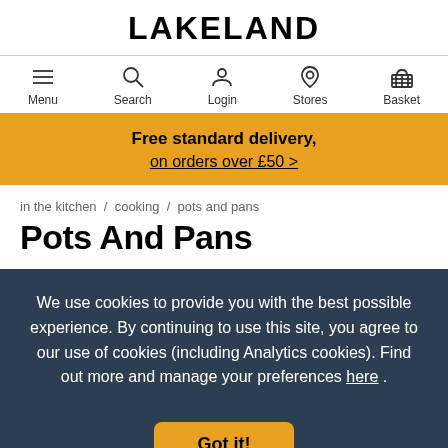LAKELAND
[Figure (screenshot): Navigation bar with icons for Menu, Search, Login, Stores, Basket]
Free standard delivery, on orders over £50 >
in the kitchen / cooking / pots and pans
Pots And Pans
We use cookies to provide you with the best possible experience. By continuing to use this site, you agree to our use of cookies (including Analytics cookies). Find out more and manage your preferences here .
Got it!